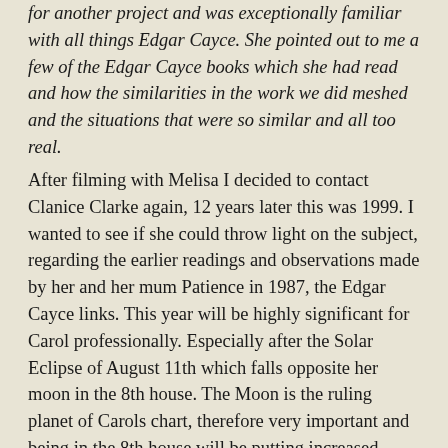for another project and was exceptionally familiar with all things Edgar Cayce. She pointed out to me a few of the Edgar Cayce books which she had read and how the similarities in the work we did meshed and the situations that were so similar and all too real.
After filming with Melisa I decided to contact Clanice Clarke again, 12 years later this was 1999. I wanted to see if she could throw light on the subject, regarding the earlier readings and observations made by her and her mum Patience in 1987, the Edgar Cayce links. This year will be highly significant for Carol professionally. Especially after the Solar Eclipse of August 11th which falls opposite her moon in the 8th house. The Moon is the ruling planet of Carols chart, therefore very important and being in the 8th house will be putting increased emphasis on her occult work. This Solar Eclipse will also be